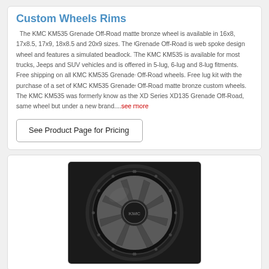Custom Wheels Rims
The KMC KM535 Grenade Off-Road matte bronze wheel is available in 16x8, 17x8.5, 17x9, 18x8.5 and 20x9 sizes. The Grenade Off-Road is web spoke design wheel and features a simulated beadlock. The KMC KM535 is available for most trucks, Jeeps and SUV vehicles and is offered in 5-lug, 6-lug and 8-lug fitments. Free shipping on all KMC KM535 Grenade Off-Road wheels. Free lug kit with the purchase of a set of KMC KM535 Grenade Off-Road matte bronze custom wheels. The KMC KM535 was formerly know as the XD Series XD135 Grenade Off-Road, same wheel but under a new brand....see more
See Product Page for Pricing
[Figure (photo): KMC KM535 Grenade Off-Road matte bronze custom wheel shown in dark matte gray/bronze finish with simulated beadlock ring, web spoke design, on a dark background]